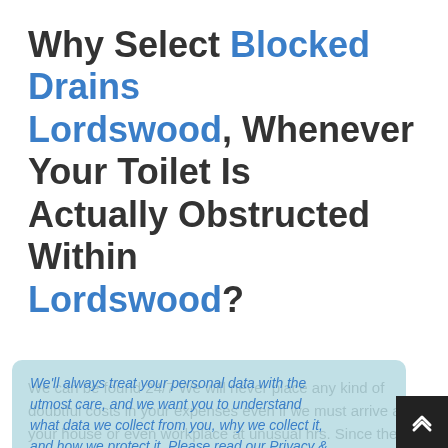Why Select Blocked Drains Lordswood, Whenever Your Toilet Is Actually Obstructed Within Lordswood?
We can be found 24/7 We will never place any kind of doubtful costs in your expenses even if we must arrive at your house or even workplace at unusual hrs. Since they're dependent in your area, we pros will invariably react promptly. What we should provide you with within our price estimation is actually the last cost, we will never smuggle in almost any expense for you personally.
We'll always treat your personal data with the utmost care, and we want you to understand what data we collect from you, why we collect it, and how we protect it. Please read our Privacy & Cookie Policy before continuing.
Read Our Privacy and Cookie Policy
Blocked Drains Lordswood's technical engineers are very well outfitted as well as educated to go beyond any kind of block in your toilet. The toilet unclogging option would be long lasting. Blocked Drains Lordswood does charge advance charges; you